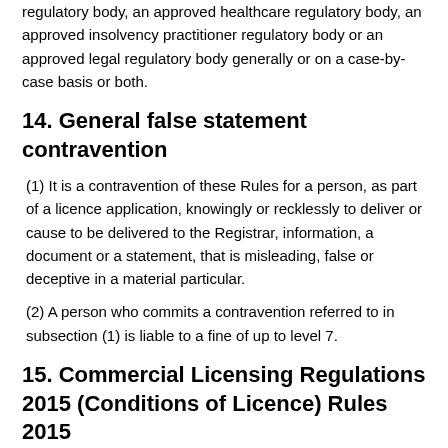regulatory body, an approved healthcare regulatory body, an approved insolvency practitioner regulatory body or an approved legal regulatory body generally or on a case-by-case basis or both.
14. General false statement contravention
(1) It is a contravention of these Rules for a person, as part of a licence application, knowingly or recklessly to deliver or cause to be delivered to the Registrar, information, a document or a statement, that is misleading, false or deceptive in a material particular.
(2) A person who commits a contravention referred to in subsection (1) is liable to a fine of up to level 7.
15. Commercial Licensing Regulations 2015 (Conditions of Licence) Rules 2015
The Commercial Licensing Regulations 2015 (Conditions of Licence) Rules 2015 are repealed.